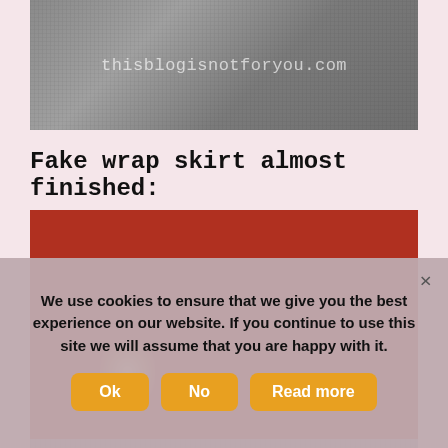[Figure (photo): Close-up photo of gray fabric/textile with website watermark text 'thisblogisnotforyou.com' overlaid in light gray]
Fake wrap skirt almost finished:
[Figure (photo): Person wearing a red long-sleeve top and gray wrap skirt with hands on waist, warm yellow striped blinds in background with a light source visible]
We use cookies to ensure that we give you the best experience on our website. If you continue to use this site we will assume that you are happy with it.